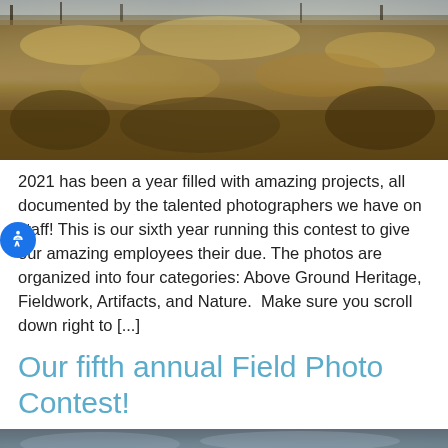[Figure (photo): Photograph of a field with dry, frost-covered plants and vegetation in winter, with bare trees visible in the background against a bright sky.]
2021 has been a year filled with amazing projects, all documented by the talented photographers we have on staff! This is our sixth year running this contest to give our amazing employees their due. The photos are organized into four categories: Above Ground Heritage, Fieldwork, Artifacts, and Nature.  Make sure you scroll down right to [...]
Our fifth annual Field Photo Contest!
[Figure (photo): Partial view of a second photograph at the bottom of the page, showing a landscape scene.]